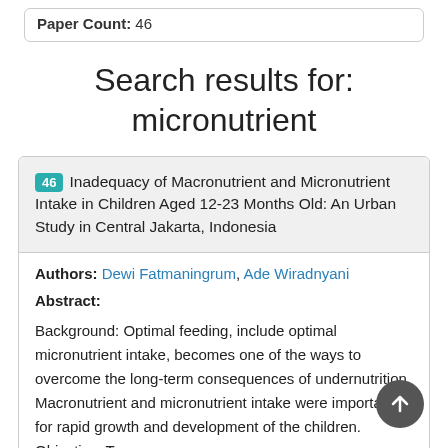Paper Count: 46
Search results for: micronutrient
46 Inadequacy of Macronutrient and Micronutrient Intake in Children Aged 12-23 Months Old: An Urban Study in Central Jakarta, Indonesia
Authors: Dewi Fatmaningrum, Ade Wiradnyani
Abstract:
Background: Optimal feeding, include optimal micronutrient intake, becomes one of the ways to overcome the long-term consequences of undernutrition. Macronutrient and micronutrient intake were important for rapid growth and development of the children. Objective: To...